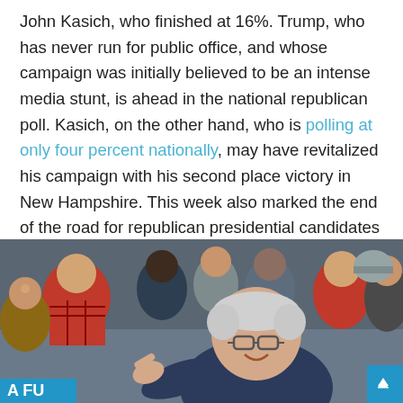John Kasich, who finished at 16%. Trump, who has never run for public office, and whose campaign was initially believed to be an intense media stunt, is ahead in the national republican poll. Kasich, on the other hand, who is polling at only four percent nationally, may have revitalized his campaign with his second place victory in New Hampshire. This week also marked the end of the road for republican presidential candidates – N.J. governor Chris Christie and former Hewlett-Packard chairperson Carly Fiorina, both of who only polled ahead of Ben Carson and had fewer than eight percent of the vote in New Hampshire.
[Figure (photo): Photo of an elderly white-haired man with glasses, pointing and smiling, surrounded by a crowd of people at what appears to be a political rally. A blue sign partially visible reading 'A FU' is in the background.]